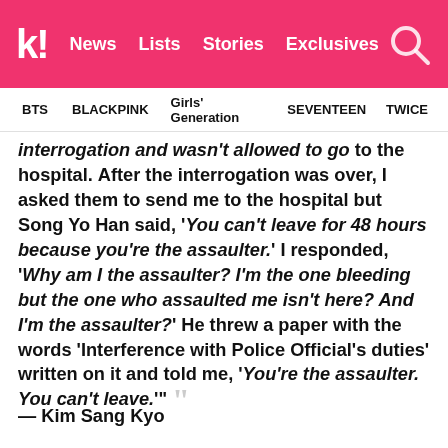k! News Lists Stories Exclusives
BTS BLACKPINK Girls' Generation SEVENTEEN TWICE
interrogation and wasn't allowed to go to the hospital. After the interrogation was over, I asked them to send me to the hospital but Song Yo Han said, 'You can't leave for 48 hours because you're the assaulter.' I responded, 'Why am I the assaulter? I'm the one bleeding but the one who assaulted me isn't here? And I'm the assaulter?' He threw a paper with the words 'Interference with Police Official's duties' written on it and told me, 'You're the assaulter. You can't leave.'"
— Kim Sang Kyo